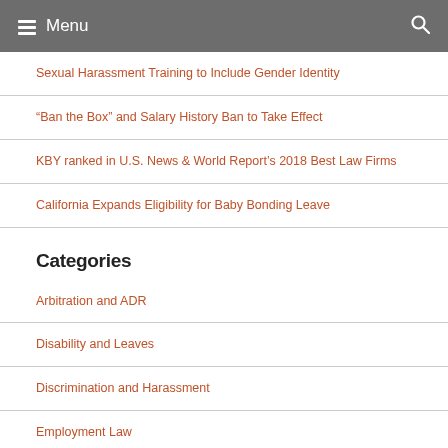Menu
Sexual Harassment Training to Include Gender Identity
“Ban the Box” and Salary History Ban to Take Effect
KBY ranked in U.S. News & World Report’s 2018 Best Law Firms
California Expands Eligibility for Baby Bonding Leave
Categories
Arbitration and ADR
Disability and Leaves
Discrimination and Harassment
Employment Law
General